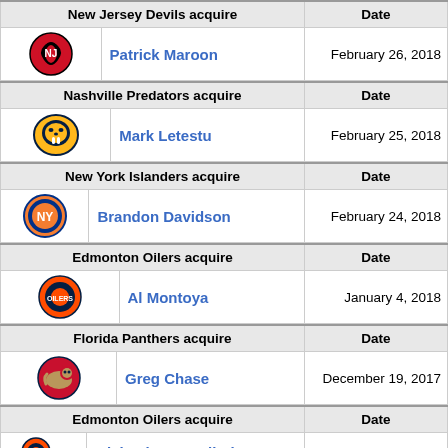| New Jersey Devils acquire | Date |
| --- | --- |
| Patrick Maroon | February 26, 2018 |
| Nashville Predators acquire | Date |
| --- | --- |
| Mark Letestu | February 25, 2018 |
| New York Islanders acquire | Date |
| --- | --- |
| Brandon Davidson | February 24, 2018 |
| Edmonton Oilers acquire | Date |
| --- | --- |
| Al Montoya | January 4, 2018 |
| Florida Panthers acquire | Date |
| --- | --- |
| Greg Chase | December 19, 2017 |
| Edmonton Oilers acquire | Date |
| --- | --- |
| Michael Cammalleri | November 14, 2017 |